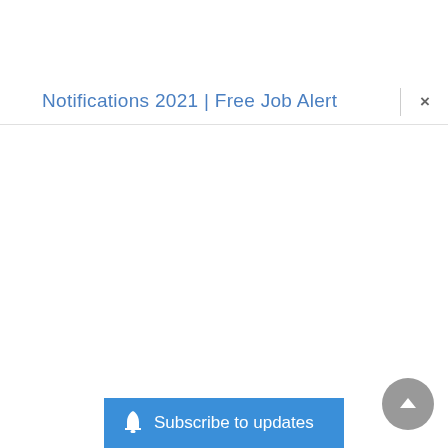Notifications 2021 | Free Job Alert
[Figure (screenshot): A browser tab/page header showing the text 'Notifications 2021 | Free Job Alert' in blue, with a close (X) button on the right side, and a 'Subscribe to updates' button with a bell icon at the bottom, and a scroll-to-top arrow button in the bottom right corner.]